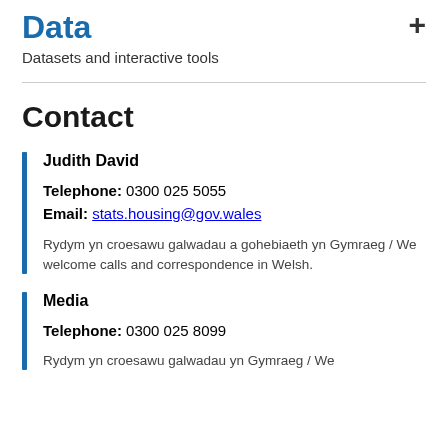Data
Datasets and interactive tools
Contact
Judith David
Telephone: 0300 025 5055
Email: stats.housing@gov.wales
Rydym yn croesawu galwadau a gohebiaeth yn Gymraeg / We welcome calls and correspondence in Welsh.
Media
Telephone: 0300 025 8099
Rydym yn croesawu galwadau yn Gymraeg / We